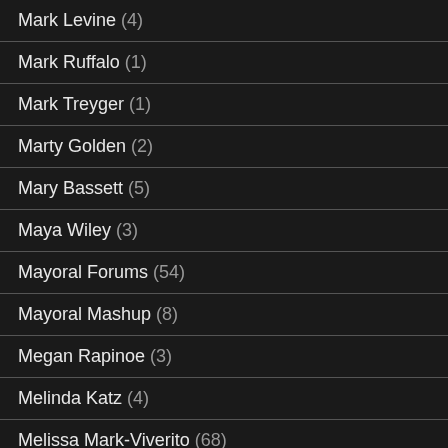Mark Levine (4)
Mark Ruffalo (1)
Mark Treyger (1)
Marty Golden (2)
Mary Bassett (5)
Maya Wiley (3)
Mayoral Forums (54)
Mayoral Mashup (8)
Megan Rapinoe (3)
Melinda Katz (4)
Melissa Mark-Viverito (68)
Metropolitan Republican Club (12)
Michael Blake (29)